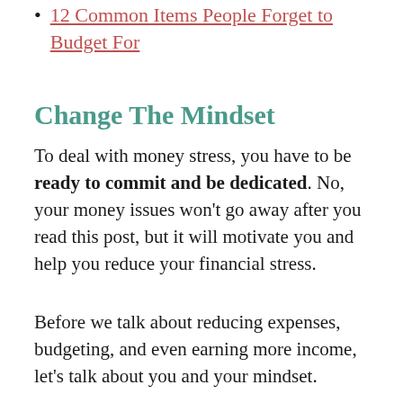12 Common Items People Forget to Budget For
Change The Mindset
To deal with money stress, you have to be ready to commit and be dedicated. No, your money issues won't go away after you read this post, but it will motivate you and help you reduce your financial stress.
Before we talk about reducing expenses, budgeting, and even earning more income, let's talk about you and your mindset.